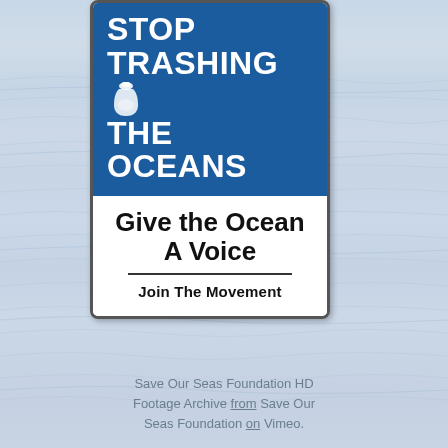[Figure (photo): Ocean water surface with gentle ripples, light blue-grey color. In the upper left area, a sign with 'STOP TRASHING THE OCEANS' in white bold text on a dark blue background, and below it 'Give the Ocean A Voice / Join The Movement' in black bold text on white background, styled as an environmental campaign sign.]
Save Our Seas Foundation HD Footage Archive from Save Our Seas Foundation on Vimeo.